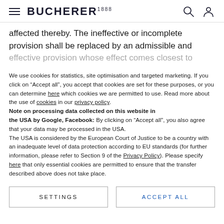BUCHERER 1888
affected thereby. The ineffective or incomplete provision shall be replaced by an admissible and effective provision whose effect comes closest to
We use cookies for statistics, site optimisation and targeted marketing. If you click on “Accept all”, you accept that cookies are set for these purposes, or you can determine here which cookies we are permitted to use. Read more about the use of cookies in our privacy policy. Note on processing data collected on this website in the USA by Google, Facebook: By clicking on “Accept all”, you also agree that your data may be processed in the USA.
The USA is considered by the European Court of Justice to be a country with an inadequate level of data protection according to EU standards (for further information, please refer to Section 9 of the Privacy Policy). Please specify here that only essential cookies are permitted to ensure that the transfer described above does not take place.
SETTINGS
ACCEPT ALL